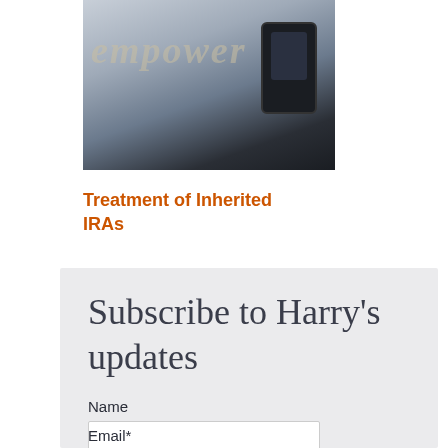[Figure (photo): Photo of a desk surface with cursive/script letters spelling 'empower' in gold and a black mobile phone/calculator, on a marble-like light surface]
Treatment of Inherited IRAs
Subscribe to Harry's updates
Name
Email*